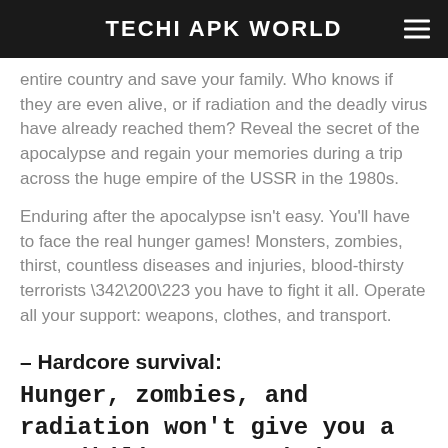TECHI APK WORLD
entire country and save your family. Who knows if they are even alive, or if radiation and the deadly virus have already reached them? Reveal the secret of the apocalypse and regain your memories during a trip across the huge empire of the USSR in the 1980s.
Enduring after the apocalypse isn't easy. You'll have to face the real hunger games! Monsters, zombies, thirst, countless diseases and injuries, blood-thirsty terrorists \342\200\223 you have to fight it all. Operate all your support: weapons, clothes, and transport.
– Hardcore survival:
Hunger, zombies, and radiation won't give you a possibility to unwind.
– Realistic world:
Changing seasons, a huge map of the USSR and more than 2,700